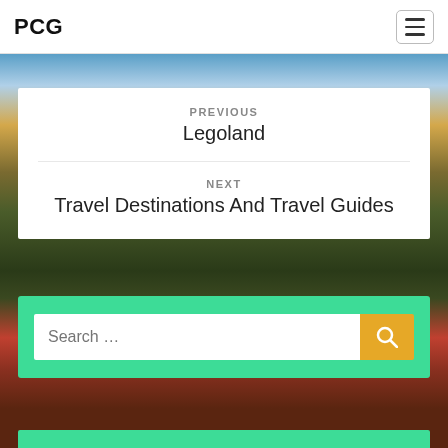PCG
PREVIOUS
Legoland
NEXT
Travel Destinations And Travel Guides
Search ...